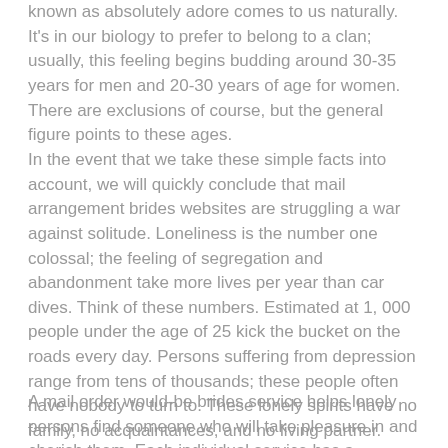known as absolutely adore comes to us naturally. It's in our biology to prefer to belong to a clan; usually, this feeling begins budding around 30-35 years for men and 20-30 years of age for women. There are exclusions of course, but the general figure points to these ages.
In the event that we take these simple facts into account, we will quickly conclude that mail arrangement brides websites are struggling a war against solitude. Loneliness is the number one colossal; the feeling of segregation and abandonment take more lives per year than car dives. Think of these numbers. Estimated at 1, 000 people under the age of 25 kick the bucket on the roads every day. Persons suffering from depression range from tens of thousands; these people often have nobody to turn to. These lonely spirits have no family, no acquaintances, and no living partner. Every fifth of those 10, 000 people will take their your life because they believe they are unlovable. mail order bride catalog
A mail order would-be brides service helps lonely persons find someone who will take pleasure in and cherish them. Each individual service has a...